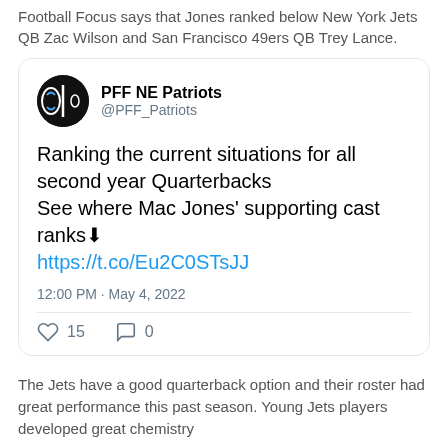Football Focus says that Jones ranked below New York Jets QB Zac Wilson and San Francisco 49ers QB Trey Lance.
[Figure (screenshot): Embedded tweet from @PFF_Patriots account showing a post about ranking current situations for all second year Quarterbacks, with a link, timestamp of 12:00 PM May 4, 2022, 15 likes and 0 comments.]
The Jets have a good quarterback option and their roster had great performance this past season. Young Jets players developed great chemistry